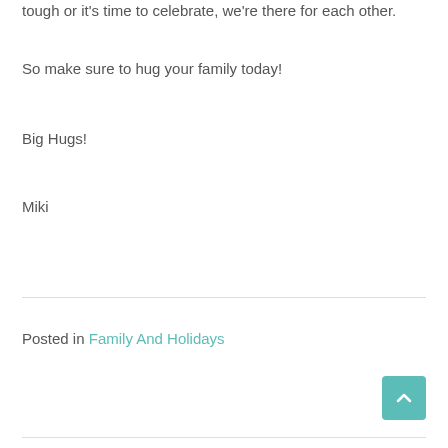tough or it's time to celebrate, we're there for each other.
So make sure to hug your family today!
Big Hugs!
Miki
Posted in Family And Holidays